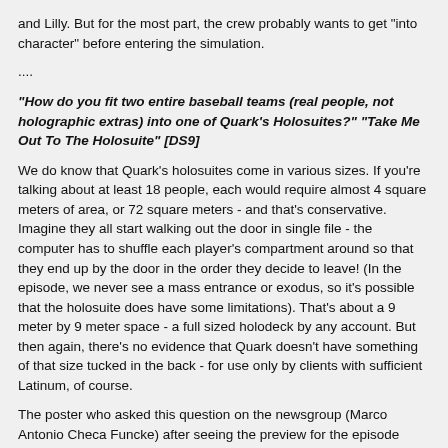and Lilly. But for the most part, the crew probably wants to get "into character" before entering the simulation.
....
"How do you fit two entire baseball teams (real people, not holographic extras) into one of Quark's Holosuites?" "Take Me Out To The Holosuite" [DS9]
We do know that Quark's holosuites come in various sizes. If you're talking about at least 18 people, each would require almost 4 square meters of area, or 72 square meters - and that's conservative. Imagine they all start walking out the door in single file - the computer has to shuffle each player's compartment around so that they end up by the door in the order they decide to leave! (In the episode, we never see a mass entrance or exodus, so it's possible that the holosuite does have some limitations). That's about a 9 meter by 9 meter space - a full sized holodeck by any account. But then again, there's no evidence that Quark doesn't have something of that size tucked in the back - for use only by clients with sufficient Latinum, of course.
The poster who asked this question on the newsgroup (Marco Antonio Checa Funcke) after seeing the preview for the episode proposed that perhaps the docked Vulcan starship's holodeck was used. Michael Welch answers that they definitely did not use the Vulcan ship because at the beginning of the episode, the Vulcan captain tells Sisko he needs to schedule holosuite use and Sisko refers him to Quark. The Vulcan captain at that point tells Sisko that it's a baseball program he's developed.